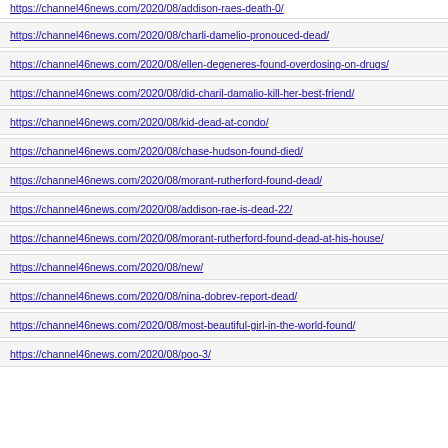https://channel46news.com/2020/08/addison-raes-death-0/
https://channel46news.com/2020/08/charli-damelio-pronouced-dead/
https://channel46news.com/2020/08/ellen-degeneres-found-overdosing-on-drugs/
https://channel46news.com/2020/08/did-charil-damalio-kill-her-best-friend/
https://channel46news.com/2020/08/kid-dead-at-condo/
https://channel46news.com/2020/08/chase-hudson-found-died/
https://channel46news.com/2020/08/morant-rutherford-found-dead/
https://channel46news.com/2020/08/addison-rae-is-dead-22/
https://channel46news.com/2020/08/morant-rutherford-found-dead-at-his-house/
https://channel46news.com/2020/08/new/
https://channel46news.com/2020/08/nina-dobrev-report-dead/
https://channel46news.com/2020/08/most-beautiful-girl-in-the-world-found/
https://channel46news.com/2020/08/poo-3/